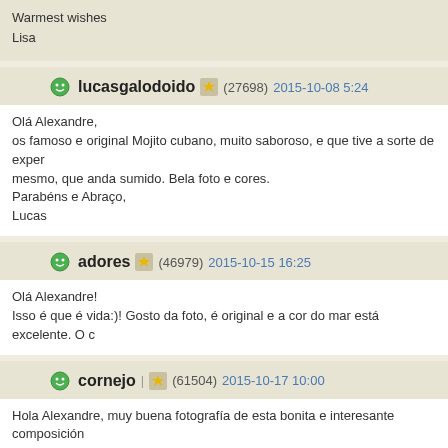Warmest wishes
Lisa
lucasgalodoido (27698) 2015-10-08 5:24

Olá Alexandre,
os famoso e original Mojito cubano, muito saboroso, e que tive a sorte de exper mesmo, que anda sumido. Bela foto e cores.
Parabéns e Abraço,
Lucas
adores (46979) 2015-10-15 16:25

Olá Alexandre!
Isso é que é vida:)! Gosto da foto, é original e a cor do mar está excelente. O c
cornejo (61504) 2015-10-17 10:00

Hola Alexandre, muy buena fotografía de esta bonita e interesante composición una bella vista, muy bien captada en esta bonita imagen, con buena nitidez, luz interesante trabajo perfectamente realizado, mis felicitaciones amigo mio. Grac trabajo.